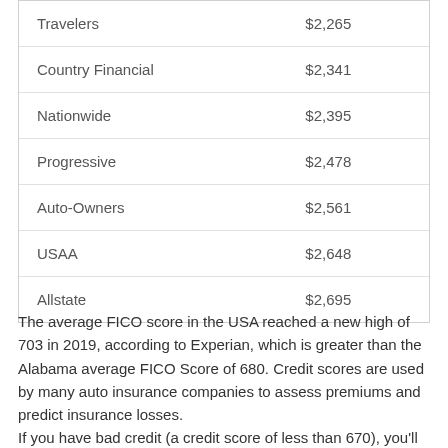| Travelers | $2,265 |
| Country Financial | $2,341 |
| Nationwide | $2,395 |
| Progressive | $2,478 |
| Auto-Owners | $2,561 |
| USAA | $2,648 |
| Allstate | $2,695 |
The average FICO score in the USA reached a new high of 703 in 2019, according to Experian, which is greater than the Alabama average FICO Score of 680. Credit scores are used by many auto insurance companies to assess premiums and predict insurance losses.
If you have bad credit (a credit score of less than 670), you'll